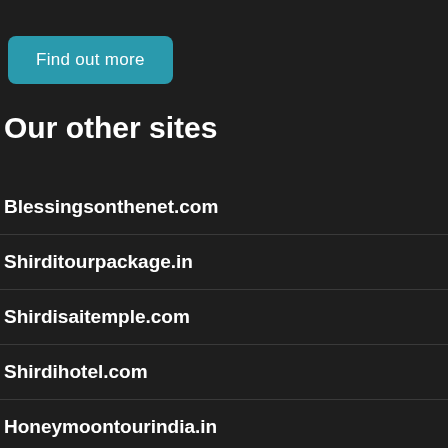[Figure (other): Teal rounded button with text 'Find out more']
Our other sites
Blessingsonthenet.com
Shirditourpackage.in
Shirdisaitemple.com
Shirdihotel.com
Honeymoontourindia.in
pilgrimagetourindia.in